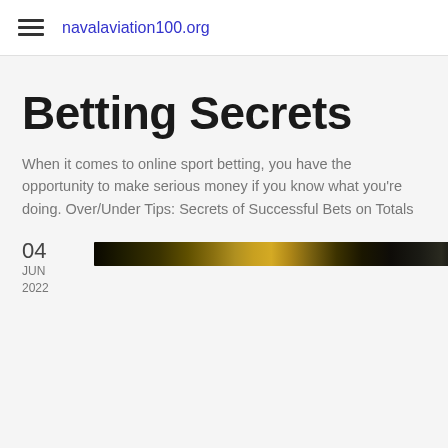navalaviation100.org
Betting Secrets
When it comes to online sport betting, you have the opportunity to make serious money if you know what you're doing. Over/Under Tips: Secrets of Successful Bets on Totals
04
JUN
2022
[Figure (photo): Dark thumbnail image with golden/yellow bokeh lights against a dark background]